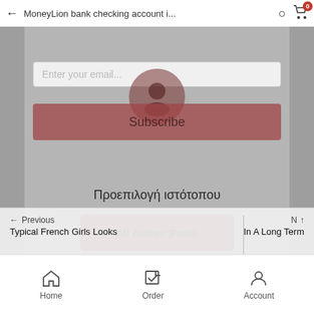MoneyLion bank checking account i...
Enter your email...
Subscribe
Προεπιλογή ιστότοπου
All Author Posts
[Figure (screenshot): Social share icon buttons row: Facebook, Twitter, Pinterest, Reddit, LinkedIn]
← Previous
Typical French Girls Looks
N ↑
In A Long Term
Home   Order   Account